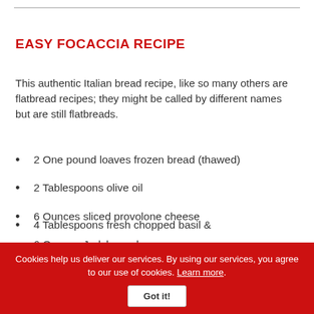EASY FOCACCIA RECIPE
This authentic Italian bread recipe, like so many others are flatbread recipes; they might be called by different names but are still flatbreads.
2 One pound loaves frozen bread (thawed)
2 Tablespoons olive oil
6 Ounces sliced provolone cheese
6 Ounces Jarlsberg cheese
4 Tablespoons fresh chopped basil &amp; …
Cookies help us deliver our services. By using our services, you agree to our use of cookies. Learn more. Got it!